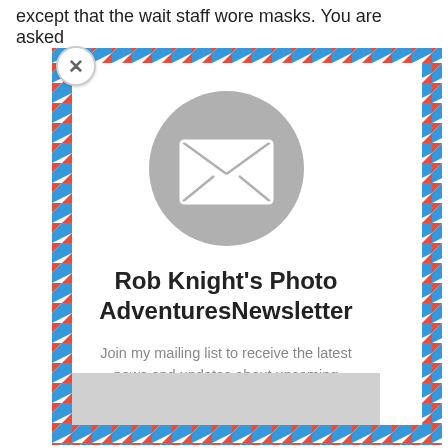except that the wait staff wore masks. You are asked
[Figure (illustration): Email newsletter signup popup with airmail-style diagonal red and blue stripe border, envelope icon in a gray circle, bold title 'Rob Knight's Photo AdventuresNewsletter', descriptive text below, and a gray bottom bar. A close (X) button appears in the top-left corner of the popup.]
Rob Knight's Photo AdventuresNewsletter
Join my mailing list to receive the latest news and updates about upcoming Photography workshops, Trips, and classes.